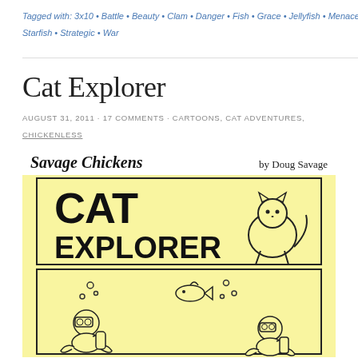Tagged with: 3x10 • Battle • Beauty • Clam • Danger • Fish • Grace • Jellyfish • Menace • Ocean • Soldier • Starfish • Strategic • War
Cat Explorer
AUGUST 31, 2011 · 17 COMMENTS · CARTOONS, CAT ADVENTURES, CHICKENLESS
[Figure (illustration): Savage Chickens webcomic by Doug Savage. Title panel shows 'CAT EXPLORER' text with a cartoon cat. Second panel shows cats underwater with fish and bubbles.]